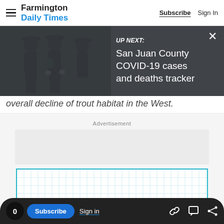Farmington Daily Times — Subscribe | Sign In
[Figure (screenshot): Up Next overlay panel showing police officers photo on left and text 'UP NEXT: San Juan County COVID-19 cases and deaths tracker' on dark background with close X button]
overall decline of trout habitat in the West.
Advertisement
[Figure (other): Empty advertisement space with a gridded blue-outlined rectangle below]
0  Subscribe  Sign in  [link icon] [comment icon] [share icon]